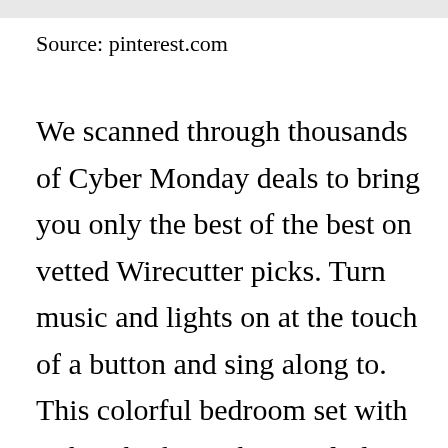Source: pinterest.com
We scanned through thousands of Cyber Monday deals to bring you only the best of the best on vetted Wirecutter picks. Turn music and lights on at the touch of a button and sing along to. This colorful bedroom set with Baby Shark graphics includes all the pieces you need to create the room of their dreams like a Sleep and Play Toddler Bed 6 Bin Design and Store Toy Organizer and an